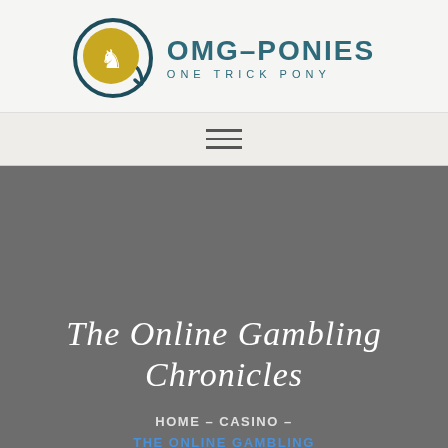[Figure (logo): OMG-Ponies logo: circular emblem with a horse/pony icon in gold/yellow on a dark teal ring, next to text 'OMG-PONIES' in teal and 'ONE TRICK PONY' in smaller teal lettering]
[Figure (other): Hamburger menu icon: three horizontal lines centered in a light gray nav bar]
The Online Gambling Chronicles
HOME - CASINO -
THE ONLINE GAMBLING